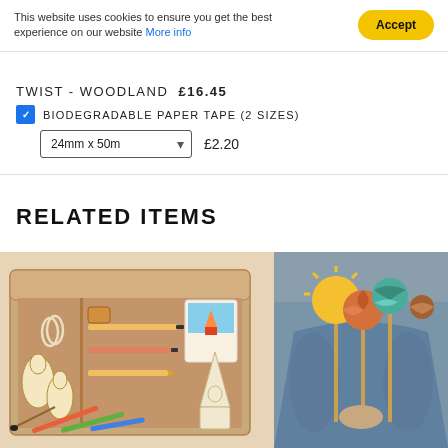This website uses cookies to ensure you get the best experience on our website More info
Accept
TWIST - WOODLAND  £16.45
BIODEGRADABLE PAPER TAPE (2 SIZES)
24mm x 50m  £2.20
RELATED ITEMS
[Figure (photo): Overhead view of an open cardboard craft kit box containing wooden figures, pencils, a sharpener, paper clips, colored crayons, a small booklet, and a cardboard rocket shape, on a white background.]
[Figure (photo): Child holding colorful paper planet models on sticks, including the sun, Earth, and other planets, against a blurred outdoor background.]